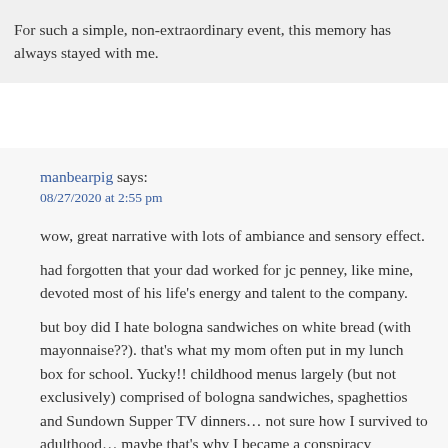For such a simple, non-extraordinary event, this memory has always stayed with me.
manbearpig says: 08/27/2020 at 2:55 pm
wow, great narrative with lots of ambiance and sensory effect.
had forgotten that your dad worked for jc penney, like mine, devoted most of his life's energy and talent to the company.
but boy did I hate bologna sandwiches on white bread (with mayonnaise??). that's what my mom often put in my lunch box for school. Yucky!! childhood menus largely (but not exclusively) comprised of bologna sandwiches, spaghettios and Sundown Supper TV dinners… not sure how I survived to adulthood… maybe that's why I became a conspiracy theorist!? I'll